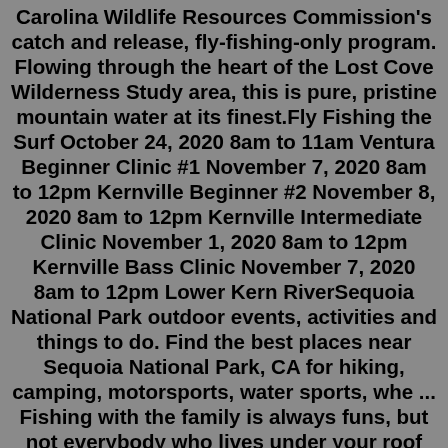Carolina Wildlife Resources Commission's catch and release, fly-fishing-only program. Flowing through the heart of the Lost Cove Wilderness Study area, this is pure, pristine mountain water at its finest.Fly Fishing the Surf October 24, 2020 8am to 11am Ventura Beginner Clinic #1 November 7, 2020 8am to 12pm Kernville Beginner #2 November 8, 2020 8am to 12pm Kernville Intermediate Clinic November 1, 2020 8am to 12pm Kernville Bass Clinic November 7, 2020 8am to 12pm Lower Kern RiverSequoia National Park outdoor events, activities and things to do. Find the best places near Sequoia National Park, CA for hiking, camping, motorsports, water sports, whe ... Fishing with the family is always funs, but not everybody who lives under your roof may like to fish 24/7. ... There is a misconception that fly-fishing has taken over ...The District took steps in 2014 to promote a healthy ecosystem along the Wild and Scenic Upper Kern River. Camping is now permitted only in developed (fee) campgrounds and designated dispersed (free) camping areas along the Upper Kern